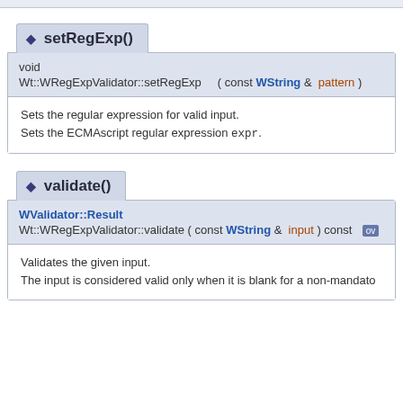setRegExp()
void
Wt::WRegExpValidator::setRegExp ( const WString & pattern )
Sets the regular expression for valid input.
Sets the ECMAscript regular expression expr.
validate()
WValidator::Result
Wt::WRegExpValidator::validate ( const WString & input ) const
Validates the given input.
The input is considered valid only when it is blank for a non-mandato